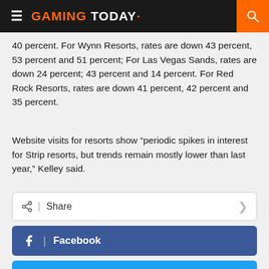GAMING TODAY
40 percent. For Wynn Resorts, rates are down 43 percent, 53 percent and 51 percent; For Las Vegas Sands, rates are down 24 percent; 43 percent and 14 percent. For Red Rock Resorts, rates are down 41 percent, 42 percent and 35 percent.
Website visits for resorts show “periodic spikes in interest for Strip resorts, but trends remain mostly lower than last year,” Kelley said.
Share
Facebook
Twitter